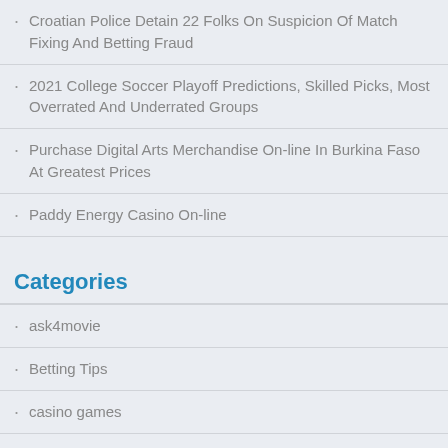Croatian Police Detain 22 Folks On Suspicion Of Match Fixing And Betting Fraud
2021 College Soccer Playoff Predictions, Skilled Picks, Most Overrated And Underrated Groups
Purchase Digital Arts Merchandise On-line In Burkina Faso At Greatest Prices
Paddy Energy Casino On-line
Categories
ask4movie
Betting Tips
casino games
Football Tips